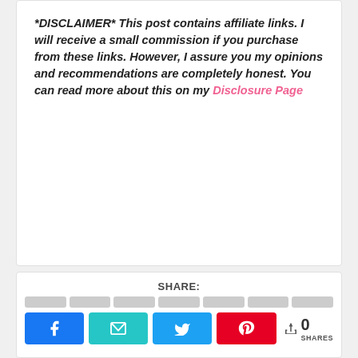*DISCLAIMER* This post contains affiliate links. I will receive a small commission if you purchase from these links. However, I assure you my opinions and recommendations are completely honest. You can read more about this on my Disclosure Page
SHARE: